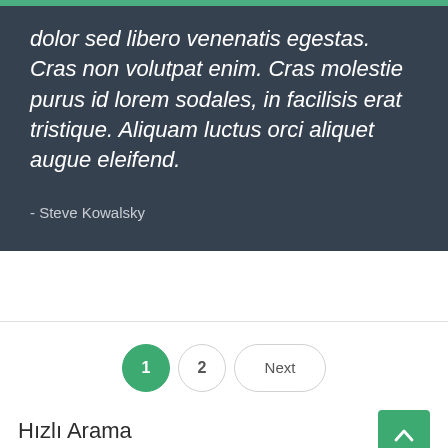dolor sed libero venenatis egestas. Cras non volutpat enim. Cras molestie purus id lorem sodales, in facilisis erat tristique. Aliquam luctus orci aliquet augue eleifend.
- Steve Kowalsky
1  2  Next
Hızlı Arama